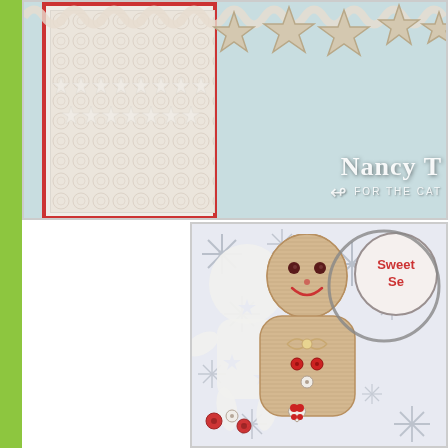[Figure (photo): Close-up photo of a handmade Christmas card with decorative patterned paper, star cutouts, and red border. Watermark reads 'Nancy T' with 'FOR THE CAT' text below and a swirl design.]
[Figure (photo): Close-up photo of a handmade gingerbread man craft made from corrugated cardboard with button eyes, red smile, twine bow, and button decorations on a snowflake-patterned background. Circular tag reads 'Swee... Se...' in red.]